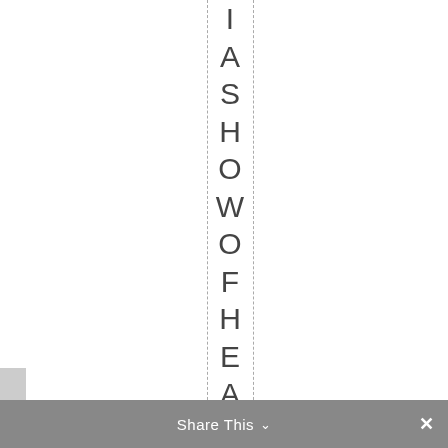[Figure (other): Vertical text spelling out 'IASHOWOFHEADS' with dashed vertical guide lines on either side, centered on the page. Each letter is stacked vertically in large sans-serif font.]
Share This ∨ ×